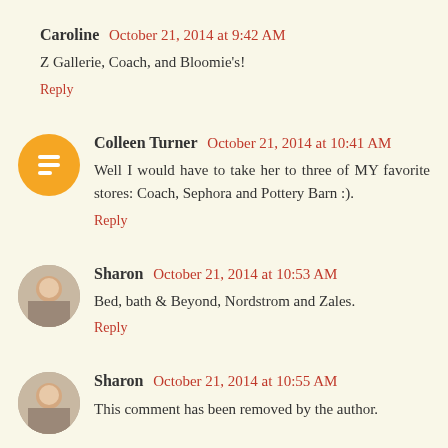Caroline  October 21, 2014 at 9:42 AM
Z Gallerie, Coach, and Bloomie's!
Reply
Colleen Turner  October 21, 2014 at 10:41 AM
Well I would have to take her to three of MY favorite stores: Coach, Sephora and Pottery Barn :).
Reply
Sharon  October 21, 2014 at 10:53 AM
Bed, bath & Beyond, Nordstrom and Zales.
Reply
Sharon  October 21, 2014 at 10:55 AM
This comment has been removed by the author.